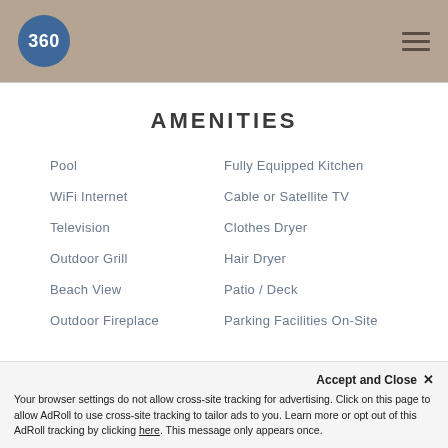[Figure (logo): 360 logo circle in blue with white text, on tan header bar with hamburger menu icon]
AMENITIES
Pool
Fully Equipped Kitchen
WiFi Internet
Cable or Satellite TV
Television
Clothes Dryer
Outdoor Grill
Hair Dryer
Beach View
Patio / Deck
Outdoor Fireplace
Parking Facilities On-Site
Communal Pool
Oven
Bicycles
Dishwasher
Coffee Maker
Refrigerator
Accept and Close ✕
Your browser settings do not allow cross-site tracking for advertising. Click on this page to allow AdRoll to use cross-site tracking to tailor ads to you. Learn more or opt out of this AdRoll tracking by clicking here. This message only appears once.